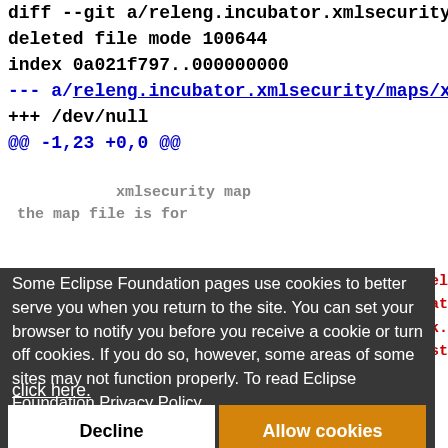diff --git a/releng.incubator.xmlsecurity/maps/x
deleted file mode 100644
index 0a021f797..000000000
--- a/releng.incubator.xmlsecurity/maps/xmlsecuri
+++ /dev/null
@@ -1,23 +0,0 @@
[Figure (screenshot): Cookie consent modal overlay on Eclipse Foundation page with Decline and Allow cookies buttons]
Some Eclipse Foundation pages use cookies to better serve you when you return to the site. You can set your browser to notify you before you receive a cookie or turn off cookies. If you do so, however, some areas of some sites may not function properly. To read Eclipse Foundation Privacy Policy click here.